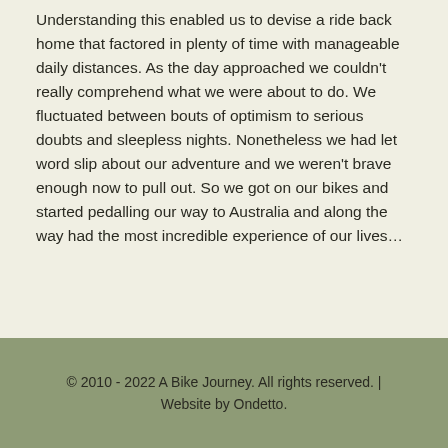Understanding this enabled us to devise a ride back home that factored in plenty of time with manageable daily distances. As the day approached we couldn't really comprehend what we were about to do. We fluctuated between bouts of optimism to serious doubts and sleepless nights. Nonetheless we had let word slip about our adventure and we weren't brave enough now to pull out. So we got on our bikes and started pedalling our way to Australia and along the way had the most incredible experience of our lives…
© 2010 - 2022 A Bike Journey. All rights reserved. | Website by Ondetto.